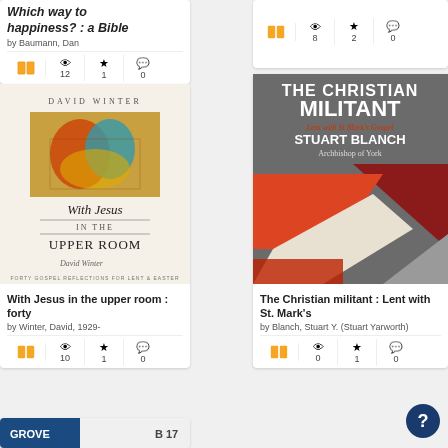[Figure (screenshot): Book listing card: 'Which way to happiness? : a Bible' by Baumann, Dan. Shows book icon, eye icon (12), star (1), comment (0).]
[Figure (photo): Book cover: 'With Jesus in the Upper Room' by David Winter. Colorful painting on cover with title in script and serif fonts.]
With Jesus in the upper room : forty
by Winter, David, 1929-
10 | 1 | 0
[Figure (photo): Book cover: 'The Christian Militant: Lent with St Mark's Gospel' by Stuart Blanch, Archbishop of York. Abstract geometric design with red, orange, gray, and white triangular arrow shapes.]
The Christian militant : Lent with St. Mark's
by Blanch, Stuart Y. (Stuart Yarworth)
0 | 1 | 0
[Figure (screenshot): Partial book cover at bottom left: Grove booklet, B 17]
8 | 2 | 0